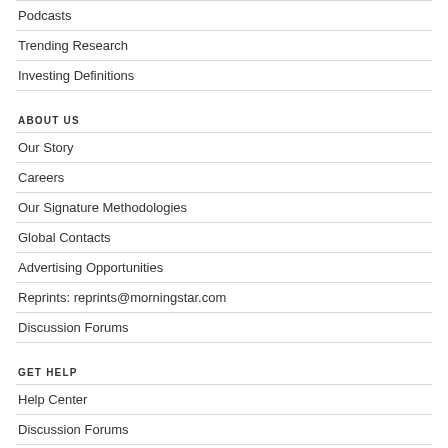Podcasts
Trending Research
Investing Definitions
ABOUT US
Our Story
Careers
Our Signature Methodologies
Global Contacts
Advertising Opportunities
Reprints: reprints@morningstar.com
Discussion Forums
GET HELP
Help Center
Discussion Forums
Advertising Opportunities
Feedback